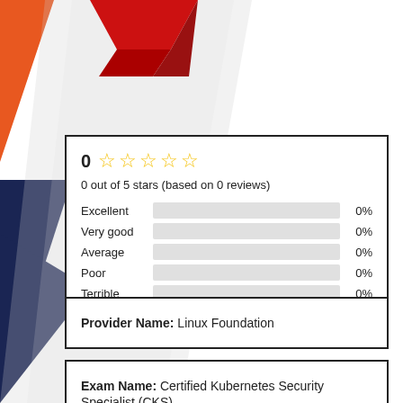[Figure (infographic): Decorative background with orange triangle top-left, dark navy triangle bottom-left, red 3D shape top-center, and grey/white diagonal shapes]
| Rating | Bar | Percentage |
| --- | --- | --- |
| 0 ☆☆☆☆☆ |  |  |
| 0 out of 5 stars (based on 0 reviews) |  |  |
| Excellent |  | 0% |
| Very good |  | 0% |
| Average |  | 0% |
| Poor |  | 0% |
| Terrible |  | 0% |
Provider Name: Linux Foundation
Exam Name: Certified Kubernetes Security Specialist (CKS)